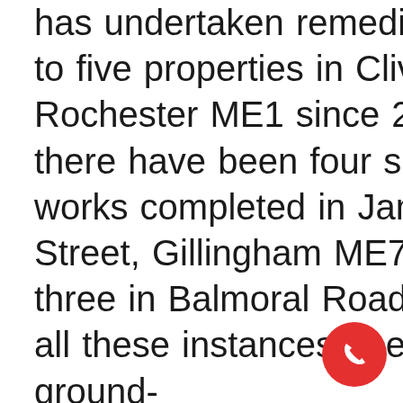has undertaken remedial works to five properties in Clive Road Rochester ME1 since 2012; there have been four similar works completed in James Street, Gillingham ME7 and three in Balmoral Road ME7. In all these instances, the external ground-level gradient, original back filled material, and geographical location in reg to the Medway undulating